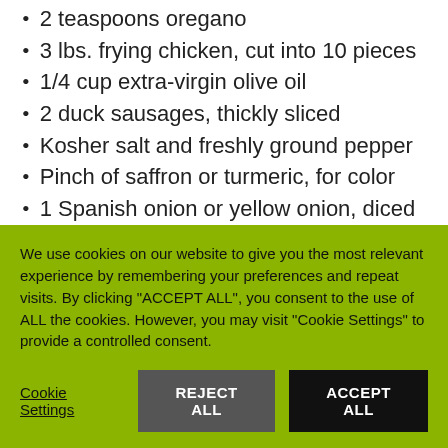2 teaspoons oregano
3 lbs. frying chicken, cut into 10 pieces
1/4 cup extra-virgin olive oil
2 duck sausages, thickly sliced
Kosher salt and freshly ground pepper
Pinch of saffron or turmeric, for color
1 Spanish onion or yellow onion, diced
4-6 garlic cloves, crushed
Bunch flat-leaf parsley leaves, de-stemmed and chopped (set some aside for garnish)
15 oz. can whole tomatoes, drained and hand-crushed
1 cups short grain Spanish rice (partial, cut off)
We use cookies on our website to give you the most relevant experience by remembering your preferences and repeat visits. By clicking “ACCEPT ALL”, you consent to the use of ALL the cookies. However, you may visit “Cookie Settings” to provide a controlled consent.
Cookie Settings | REJECT ALL | ACCEPT ALL